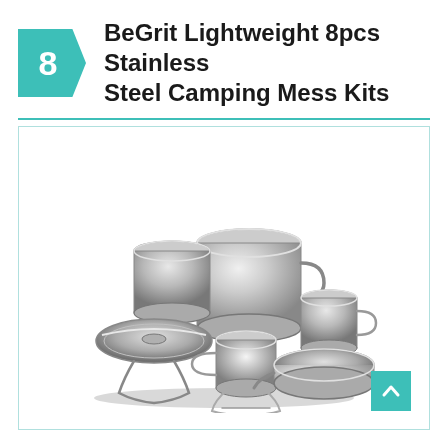BeGrit Lightweight 8pcs Stainless Steel Camping Mess Kits
[Figure (photo): A collection of stainless steel camping mess kit items including large pots, smaller cups/mugs with wire handles, lids, and a shallow pan, arranged as a group product photo on white background.]